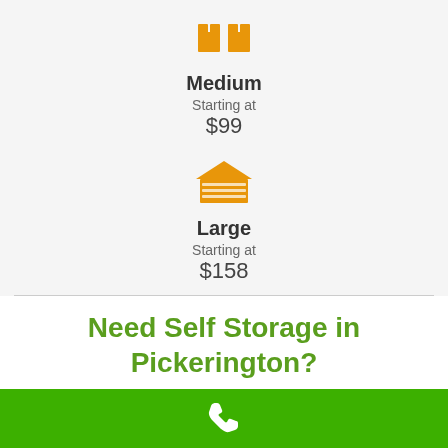[Figure (illustration): Orange boxes/crates icon representing medium storage unit]
Medium
Starting at
$99
[Figure (illustration): Orange garage/storage unit icon representing large storage unit]
Large
Starting at
$158
Need Self Storage in Pickerington?
[Figure (illustration): White phone handset icon on green background footer bar]